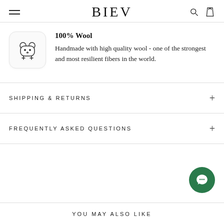BIEV
100% Wool
Handmade with high quality wool - one of the strongest and most resilient fibers in the world.
SHIPPING & RETURNS
FREQUENTLY ASKED QUESTIONS
YOU MAY ALSO LIKE